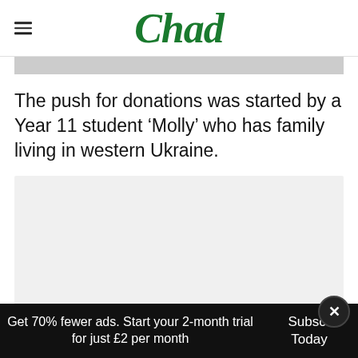Chad
[Figure (other): Gray advertisement banner placeholder at top of article]
The push for donations was started by a Year 11 student ‘Molly’ who has family living in western Ukraine.
[Figure (other): Gray advertisement block placeholder in article body]
Get 70% fewer ads. Start your 2-month trial for just £2 per month | Subscribe Today